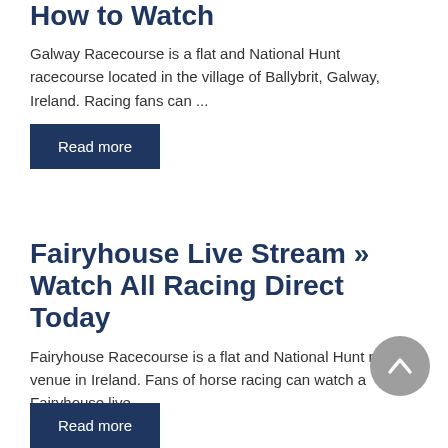How to Watch
Galway Racecourse is a flat and National Hunt racecourse located in the village of Ballybrit, Galway, Ireland. Racing fans can ...
Read more
Fairyhouse Live Stream » Watch All Racing Direct Today
Fairyhouse Racecourse is a flat and National Hunt racing venue in Ireland. Fans of horse racing can watch a Fairyhouse live ...
Read more